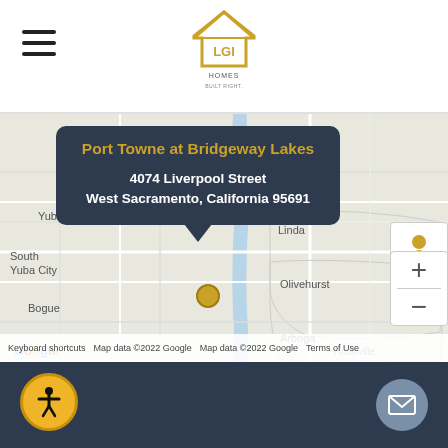[Figure (logo): LGI Homes logo with house icon above text]
[Figure (map): Google Maps view showing location of Port Towne at Bridgeway Lakes near West Sacramento, California. Map shows surrounding areas including Yuba City, South Yuba City, Bogue, Linda, Olivehurst, Arboga, and Horstville. A popup tooltip displays the community name and address.]
Port Towne at Bridgeway Lakes
4074 Liverpool Street West Sacramento, California 95691
Keyboard shortcuts  Map data ©2022 Google  Map data ©2022 Google  Terms of Use